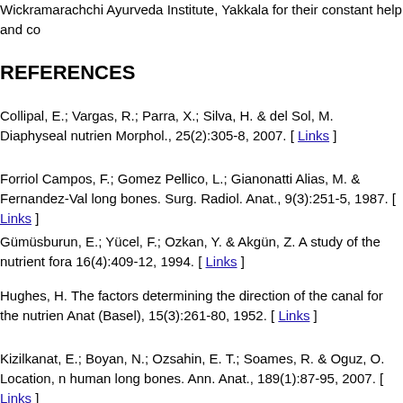Wickramarachchi Ayurveda Institute, Yakkala for their constant help and co...
REFERENCES
Collipal, E.; Vargas, R.; Parra, X.; Silva, H. & del Sol, M. Diaphyseal nutrien... Morphol., 25(2):305-8, 2007. [ Links ]
Forriol Campos, F.; Gomez Pellico, L.; Gianonatti Alias, M. & Fernandez-Val... long bones. Surg. Radiol. Anat., 9(3):251-5, 1987. [ Links ]
Gümüsburun, E.; Yücel, F.; Ozkan, Y. & Akgün, Z. A study of the nutrient fora... 16(4):409-12, 1994. [ Links ]
Hughes, H. The factors determining the direction of the canal for the nutrien... Anat (Basel), 15(3):261-80, 1952. [ Links ]
Kizilkanat, E.; Boyan, N.; Ozsahin, E. T.; Soames, R. & Oguz, O. Location, n... human long bones. Ann. Anat., 189(1):87-95, 2007. [ Links ]
Kumar, R.; Mandloi, R. S.; Singh, A. K.; Kumar, D. & Mahato, P. Analytical a... Rohilkhand region. IJMHS, 3(2):2013. Available from: whttps://www.semanti... MORPHOMETRIC-STUDY-OF-NUTRIENT-OF-IN-Kumar-Mandloi/b6979b2...
Lee, H. Y.; Kim, H. S.; Suh, J. S. & Chung, I. H. A metric study of the femora... Korean J. Phys. Anthropol., 7(1):125-36, 1994. [ Links ]
Longia, G. S.; Ajmani, M. L.; Saxena, S. K. & Thomas, R. J. Study of diaphy...